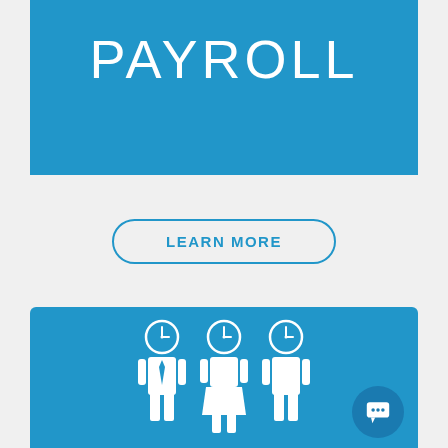PAYROLL
LEARN MORE
[Figure (illustration): Three white human silhouette icons with clock faces as heads on a blue background, representing employees or payroll workers]